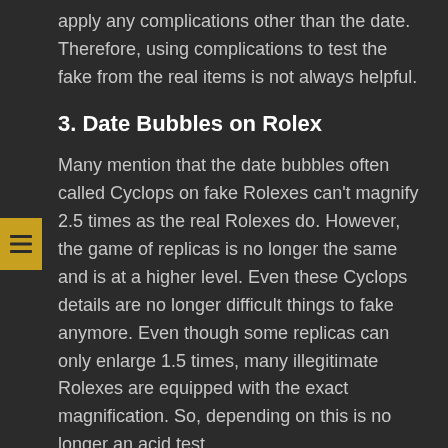apply any complications other than the date. Therefore, using complications to test the fake from the real items is not always helpful.
3. Date Bubbles on Rolex
Many mention that the date bubbles often called Cyclops on fake Rolexes can't magnify 2.5 times as the real Rolexes do. However, the game of replicas is no longer the same and is at a higher level. Even these Cyclops details are no longer difficult things to fake anymore. Even though some replicas can only enlarge 1.5 times, many illegitimate Rolexes are equipped with the exact magnification. So, depending on this is no longer an acid test.
4. Genuine Movement Indicate Genuine Watch
The heart of a timepiece that gives the watch the power to